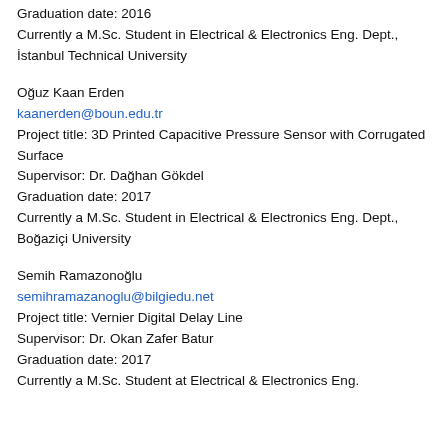Graduation date: 2016
Currently a M.Sc. Student in Electrical & Electronics Eng. Dept., İstanbul Technical University
Oğuz Kaan Erden
kaanerden@boun.edu.tr
Project title: 3D Printed Capacitive Pressure Sensor with Corrugated Surface
Supervisor: Dr. Dağhan Gökdel
Graduation date: 2017
Currently a M.Sc. Student in Electrical & Electronics Eng. Dept., Boğaziçi University
Semih Ramazonoğlu
semihramazanoglu@bilgiedu.net
Project title: Vernier Digital Delay Line
Supervisor: Dr. Okan Zafer Batur
Graduation date: 2017
Currently a M.Sc. Student at Electrical & Electronics Eng.